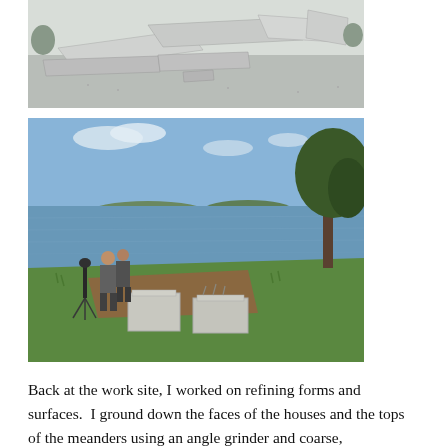[Figure (photo): Outdoor photograph of large white/grey granite stone slabs laid out on a gravel or concrete surface, possibly a sculpture or construction site.]
[Figure (photo): Outdoor photograph of two people standing near a waterfront with a tree on the right, concrete block foundations in the foreground on a grassy hillside, and a calm bay or inlet visible in the background under a blue sky.]
Back at the work site, I worked on refining forms and surfaces.  I ground down the faces of the houses and the tops of the meanders using an angle grinder and coarse,